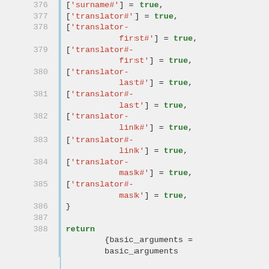Code listing lines 376-388 showing PHP array assignments with string keys (translator, translator-first, translator-last, translator-link, translator-mask variants with # suffix) set to true, closing brace, and return statement with basic_arguments.